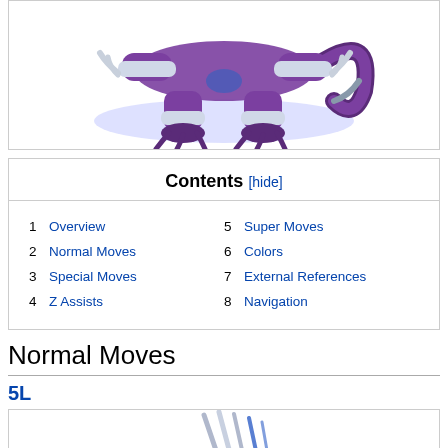[Figure (illustration): Purple alien/monster character (Frieza-like) crouching, shown from waist down with claws and tail visible against a white background with a blue glow effect.]
Contents [hide]
1 Overview
5 Super Moves
2 Normal Moves
6 Colors
3 Special Moves
7 External References
4 Z Assists
8 Navigation
Normal Moves
5L
[Figure (illustration): Close-up of the character's claw/talon attack move for the 5L normal move.]